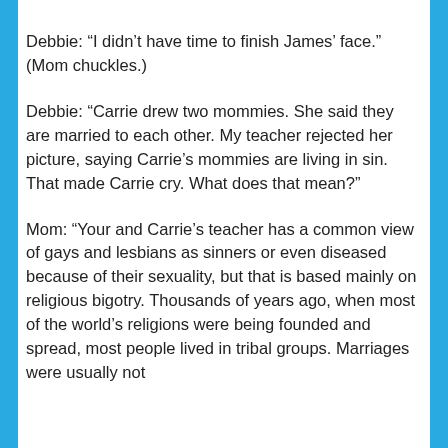Debbie: “I didn’t have time to finish James’ face.”   (Mom chuckles.)
Debbie: “Carrie drew two mommies. She said they are married to each other. My teacher rejected her picture, saying Carrie’s mommies are living in sin. That made Carrie cry. What does that mean?”
Mom: “Your and Carrie’s teacher has a common view of gays and lesbians as sinners or even diseased because of their sexuality, but that is based mainly on religious bigotry. Thousands of years ago, when most of the world’s religions were being founded and spread, most people lived in tribal groups. Marriages were usually not